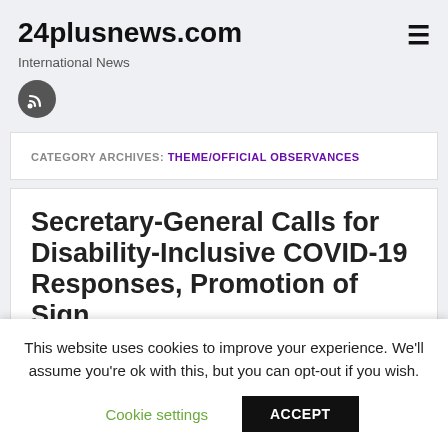24plusnews.com
International News
CATEGORY ARCHIVES: THEME/OFFICIAL OBSERVANCES
Secretary-General Calls for Disability-Inclusive COVID-19 Responses, Promotion of Sign Language Culture
This website uses cookies to improve your experience. We'll assume you're ok with this, but you can opt-out if you wish.